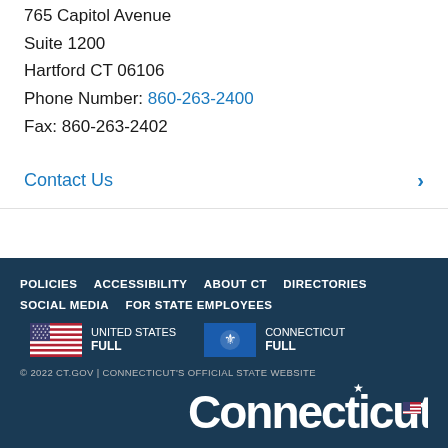765 Capitol Avenue
Suite 1200
Hartford CT 06106
Phone Number: 860-263-2400
Fax: 860-263-2402
Contact Us
POLICIES  ACCESSIBILITY  ABOUT CT  DIRECTORIES  SOCIAL MEDIA  FOR STATE EMPLOYEES
UNITED STATES FULL  CONNECTICUT FULL
© 2022 CT.GOV | CONNECTICUT'S OFFICIAL STATE WEBSITE
Connecticut